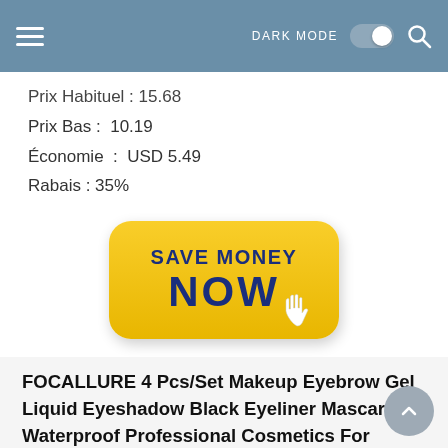DARK MODE [toggle] [search icon]
Prix Habituel : 15.68
Prix Bas :  10.19
Économie  :  USD 5.49
Rabais : 35%
[Figure (other): Yellow rounded button with bold dark blue text reading 'SAVE MONEY NOW' with a white cursor hand icon in the bottom right corner]
FOCALLURE 4 Pcs/Set Makeup Eyebrow Gel Liquid Eyeshadow Black Eyeliner Mascara Waterproof Professional Cosmetics For Women